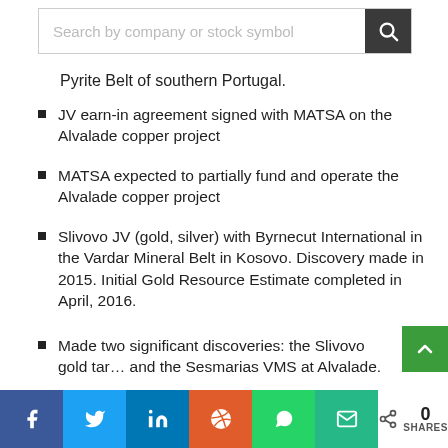[Figure (screenshot): Search bar with placeholder text 'Search by company or stock symbol' and a dark search icon button on the right]
Pyrite Belt of southern Portugal.
JV earn-in agreement signed with MATSA on the Alvalade copper project
MATSA expected to partially fund and operate the Alvalade copper project
Slivovo JV (gold, silver) with Byrnecut International in the Vardar Mineral Belt in Kosovo. Discovery made in 2015. Initial Gold Resource Estimate completed in April, 2016.
Made two significant discoveries: the Slivovo gold tar... and the Sesmarias VMS at Alvalade.
Extensive work conducted on Alvito IOCG project in
[Figure (infographic): Social share bar with Facebook, Twitter, LinkedIn, Reddit, WhatsApp, Email buttons and a share count of 0 SHARES]